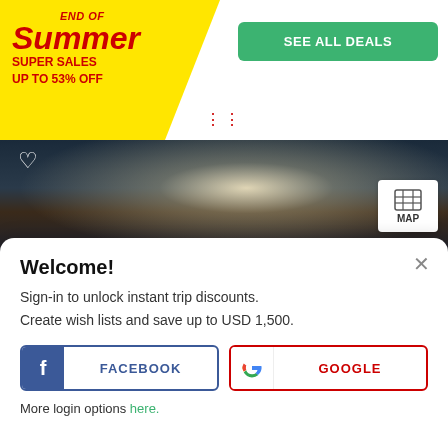[Figure (infographic): End of Summer Super Sales promotion banner with yellow background and red text, plus SEE ALL DEALS green button]
[Figure (photo): Landscape photo of Embalse El Yeso with dark water and atmospheric light reflection]
Embalse El Yeso - Cajon Del Maipo
4 out of 5 stars of 16 reviews
Welcome!
Sign-in to unlock instant trip discounts.
Create wish lists and save up to USD 1,500.
FACEBOOK
GOOGLE
More login options here.